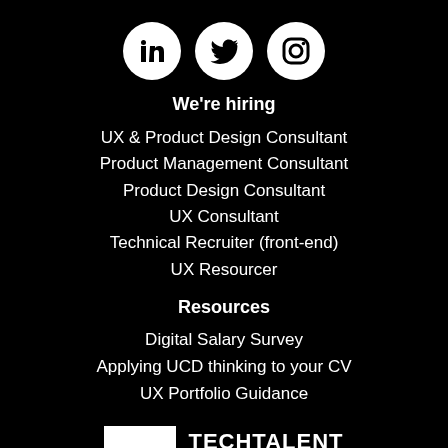[Figure (illustration): Three white circular social media icons: LinkedIn, Twitter, Instagram]
We're hiring
UX & Product Design Consultant
Product Management Consultant
Product Design Consultant
UX Consultant
Technical Recruiter (front-end)
UX Resourcer
Resources
Digital Salary Survey
Applying UCD thinking to your CV
UX Portfolio Guidance
[Figure (logo): Tech Talent Charter Signatory logo — white box with </> symbol and text TECHTALENT CHARTER SIGNATORY]